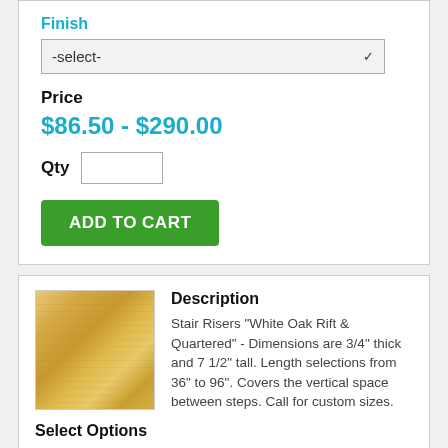Finish
[Figure (screenshot): Dropdown select box showing '-select-' with a chevron arrow on the right, light gray background]
Price
$86.50 - $290.00
Qty
ADD TO CART
Description
Stair Risers "White Oak Rift & Quartered" - Dimensions are 3/4" thick and 7 1/2" tall. Length selections from 36" to 96". Covers the vertical space between steps. Call for custom sizes.
Select Options